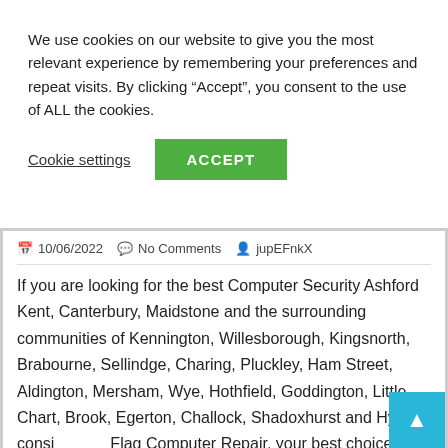We use cookies on our website to give you the most relevant experience by remembering your preferences and repeat visits. By clicking “Accept”, you consent to the use of ALL the cookies.
Cookie settings
ACCEPT
10/06/2022   No Comments   jupEFnkX
If you are looking for the best Computer Security Ashford Kent, Canterbury, Maidstone and the surrounding communities of Kennington, Willesborough, Kingsnorth, Brabourne, Sellindge, Charing, Pluckley, Ham Street, Aldington, Mersham, Wye, Hothfield, Goddington, Little Chart, Brook, Egerton, Challock, Shadoxhurst and Hythe consi- Flag Computer Repair, your best choice. Affordal Computer Repair Service, Local, mobile service,